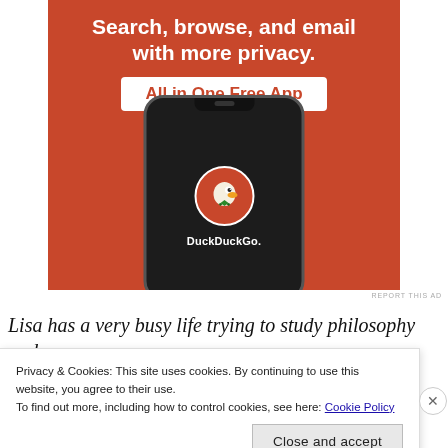[Figure (illustration): DuckDuckGo advertisement banner on orange background. Text reads 'Search, browse, and email with more privacy. All in One Free App'. Shows a smartphone mockup with DuckDuckGo duck logo and name on screen.]
REPORT THIS AD
Lisa has a very busy life trying to study philosophy and
need enough to satisfy the cravings while six cats have a
Privacy & Cookies: This site uses cookies. By continuing to use this website, you agree to their use.
To find out more, including how to control cookies, see here: Cookie Policy
Close and accept